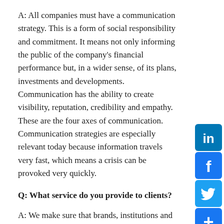A: All companies must have a communication strategy. This is a form of social responsibility and commitment. It means not only informing the public of the company's financial performance but, in a wider sense, of its plans, investments and developments. Communication has the ability to create visibility, reputation, credibility and empathy. These are the four axes of communication. Communication strategies are especially relevant today because information travels very fast, which means a crisis can be provoked very quickly.
Q: What service do you provide to clients?
A: We make sure that brands, institutions and companies develop a positive reputation. We do this by transmitting quality information to specific audiences. We also aid companies in both preventing and managing crises, which can happen to any company in any given moment. We work directly with the general management of companies. We believe social responsibility should be lifted to this level and
[Figure (infographic): Social media share buttons sidebar: LinkedIn (blue), Facebook (blue), Twitter (blue), Share/plus (blue)]